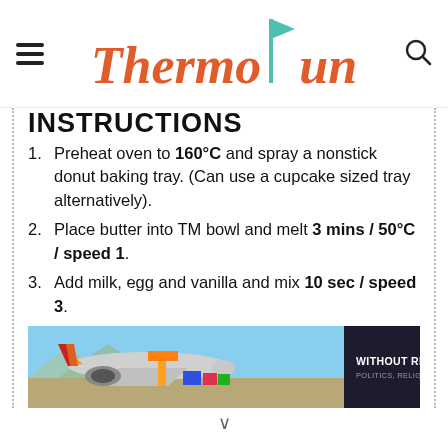ThermoFun
INSTRUCTIONS
Preheat oven to 160°C and spray a nonstick donut baking tray. (Can use a cupcake sized tray alternatively).
Place butter into TM bowl and melt 3 mins / 50°C / speed 1.
Add milk, egg and vanilla and mix 10 sec / speed 3.
[Figure (photo): Advertisement banner showing an airplane being loaded with cargo on a tarmac, with overlay text reading 'WITHOUT REGARD TO POLITICS, RELIGION OR HEALTH TO ALL']